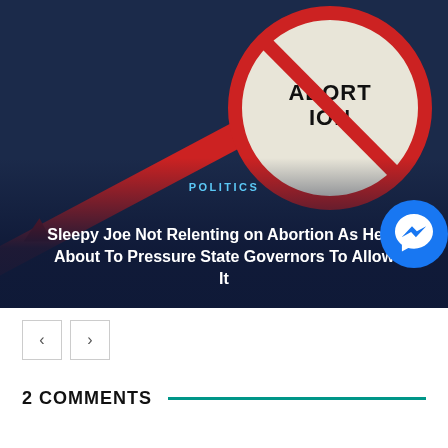[Figure (photo): Photo of an anti-abortion protest sign (circular red 'no' symbol with the word ABORTION crossed out) against a dark navy background, with a red protest stick/handle visible.]
POLITICS
Sleepy Joe Not Relenting on Abortion As He Is About To Pressure State Governors To Allow It
2 COMMENTS